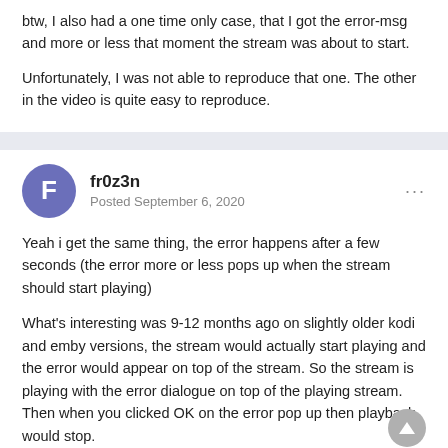btw, I also had a one time only case, that I got the error-msg and more or less that moment the stream was about to start.
Unfortunately, I was not able to reproduce that one. The other in the video is quite easy to reproduce.
fr0z3n
Posted September 6, 2020
Yeah i get the same thing, the error happens after a few seconds (the error more or less pops up when the stream should start playing)
What's interesting was 9-12 months ago on slightly older kodi and emby versions, the stream would actually start playing and the error would appear on top of the stream. So the stream is playing with the error dialogue on top of the playing stream. Then when you clicked OK on the error pop up then playback would stop.
In more recent versions of kodi / emby, the error pops up but playback never starts. Issues been around for years but in recent months with kodi